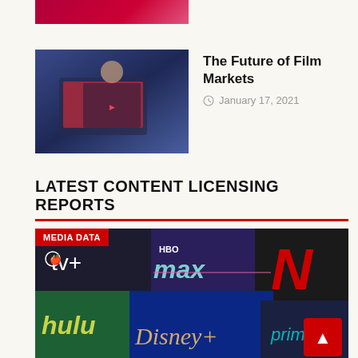[Figure (photo): Partial red/crimson image strip at top of page, cropped]
[Figure (photo): Thumbnail image of person using laptop with colorful screen]
The Future of Film Markets
January 17, 2021
LATEST CONTENT LICENSING REPORTS
[Figure (photo): Streaming service logos collage: Apple TV+, HBO Max, Netflix, Hulu, Disney+, Prime Video on dark purple/green background with MEDIA DATA badge]